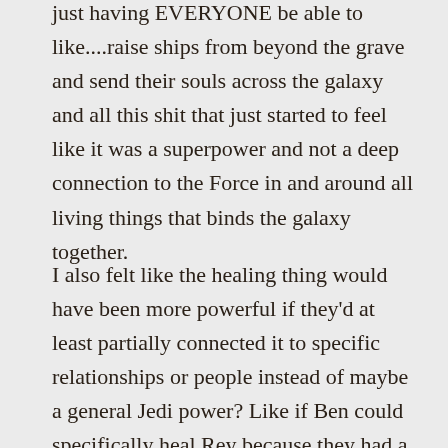just having EVERYONE be able to like....raise ships from beyond the grave and send their souls across the galaxy and all this shit that just started to feel like it was a superpower and not a deep connection to the Force in and around all living things that binds the galaxy together.
I also felt like the healing thing would have been more powerful if they'd at least partially connected it to specific relationships or people instead of maybe a general Jedi power? Like if Ben could specifically heal Rey because they had a bond, OR if it was a power only Rey had,